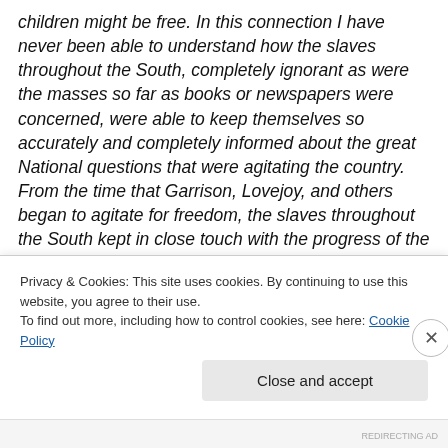children might be free. In this connection I have never been able to understand how the slaves throughout the South, completely ignorant as were the masses so far as books or newspapers were concerned, were able to keep themselves so accurately and completely informed about the great National questions that were agitating the country. From the time that Garrison, Lovejoy, and others began to agitate for freedom, the slaves throughout the South kept in close touch with the progress of the movement. Though I was a mere child during the preparation for the Civil War and during the war itself, I
Privacy & Cookies: This site uses cookies. By continuing to use this website, you agree to their use. To find out more, including how to control cookies, see here: Cookie Policy
Close and accept
REDIRECTING AD